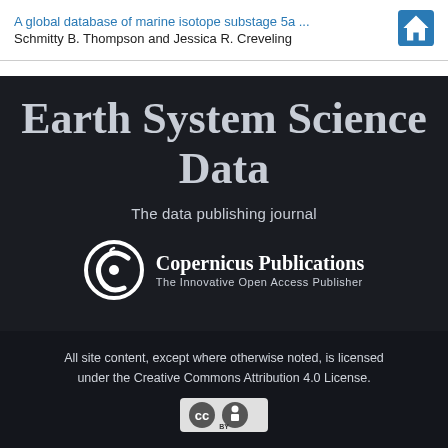A global database of marine isotope substage 5a … Schmitty B. Thompson and Jessica R. Creveling
Earth System Science Data
The data publishing journal
[Figure (logo): Copernicus Publications logo — stylized C icon with text 'Copernicus Publications' and tagline 'The Innovative Open Access Publisher']
All site content, except where otherwise noted, is licensed under the Creative Commons Attribution 4.0 License.
[Figure (logo): Creative Commons BY license badge icon]